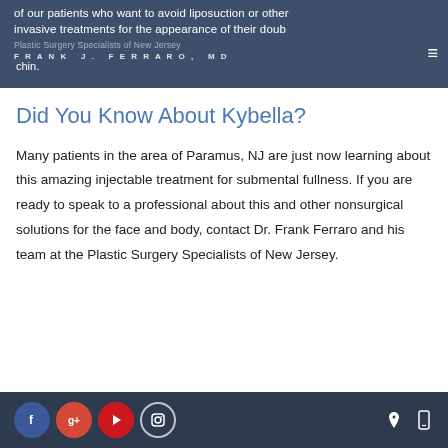of our patients who want to avoid liposuction or other invasive treatments for the appearance of their double chin. | Plastic Surgery Specialists of New Jersey | FRANK J. FERRARO, MD
Did You Know About Kybella?
Many patients in the area of Paramus, NJ are just now learning about this amazing injectable treatment for submental fullness. If you are ready to speak to a professional about this and other nonsurgical solutions for the face and body, contact Dr. Frank Ferraro and his team at the Plastic Surgery Specialists of New Jersey.
[Social icons: Facebook, Google+, YouTube, Instagram] [Location icon] [Mobile icon]